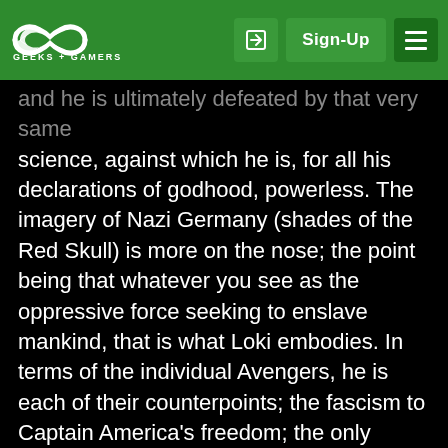GEEKS + GAMERS — Sign-Up
and he is ultimately defeated by that very same science, against which he is, for all his declarations of godhood, powerless. The imagery of Nazi Germany (shades of the Red Skull) is more on the nose; the point being that whatever you see as the oppressive force seeking to enslave mankind, that is what Loki embodies. In terms of the individual Avengers, he is each of their counterpoints; the fascism to Captain America's freedom; the only being in the universe as full of himself as Tony Stark; the loss of control Bruce Banner fears more than anything; the potential for Asgardian destruction Thor has sworn to keep from Midgard; the